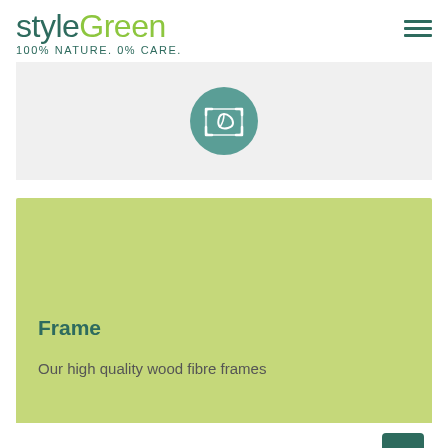styleGreen 100% NATURE. 0% CARE.
[Figure (illustration): Gray placeholder rectangle with a teal circle containing a leaf/camera icon in the center]
[Figure (illustration): Light green background section (card) with Frame heading and partial body text]
Frame
Our high quality wood fibre frames